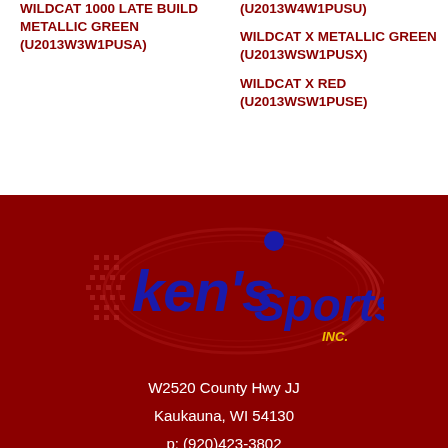WILDCAT 1000 LATE BUILD METALLIC GREEN (U2013W3W1PUSA)
(U2013W4W1PUSU)
WILDCAT X METALLIC GREEN (U2013WSW1PUSX)
WILDCAT X RED (U2013WSW1PUSE)
[Figure (logo): Ken's Sports Inc. logo — blue and yellow lettering on dark red background with decorative racing stripe graphics]
W2520 County Hwy JJ
Kaukauna, WI 54130
p: (920)423-3802